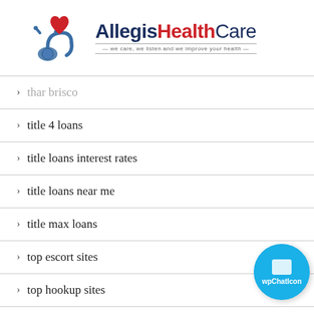[Figure (logo): Allegis HealthCare logo with red heart, stethoscope, and tagline 'we care, we listen and we improve your health']
thar brisco
title 4 loans
title loans interest rates
title loans near me
title max loans
top escort sites
top hookup sites
top pay day loan